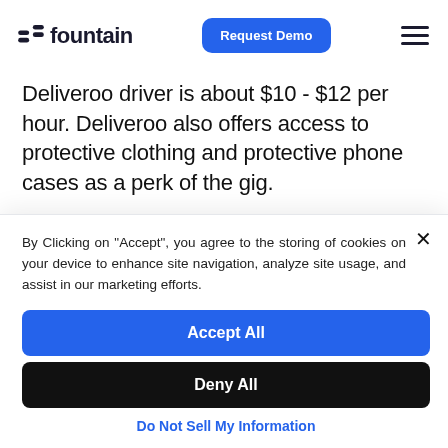fountain | Request Demo | [menu]
Deliveroo driver is about $10 - $12 per hour. Deliveroo also offers access to protective clothing and protective phone cases as a perk of the gig.
By Clicking on "Accept", you agree to the storing of cookies on your device to enhance site navigation, analyze site usage, and assist in our marketing efforts.
Accept All
Deny All
Do Not Sell My Information